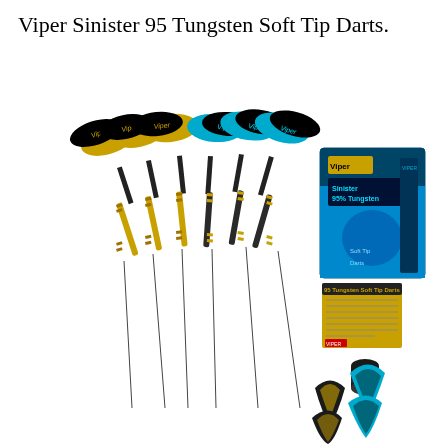Viper Sinister 95 Tungsten Soft Tip Darts.
[Figure (photo): Product photo showing Viper Sinister 95 Tungsten Soft Tip Darts set. Six darts are displayed fanned out — three with black and gold dart flights on the left, and three with black and teal/blue dart flights on the right. The dart barrels are gold and black. To the right side of the darts is the product packaging box (teal/blue with underwater theme), a booklet/manual, a small cylindrical container, and several spare dart flights in black/gold and black/teal colors.]